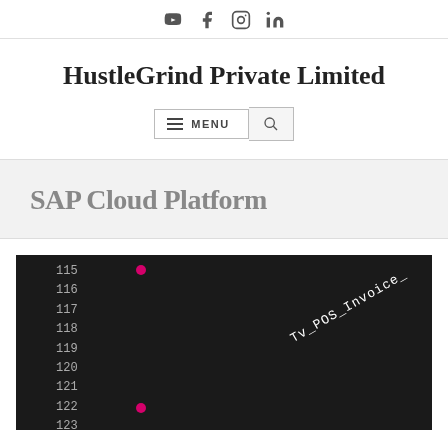Social icons: YouTube, Facebook, Instagram, LinkedIn
HustleGrind Private Limited
MENU (navigation bar with hamburger menu and search button)
SAP Cloud Platform
[Figure (screenshot): Dark-background code editor screenshot showing line numbers 115–123 with pink dots and diagonal text reading Tv_POS_Invoice]